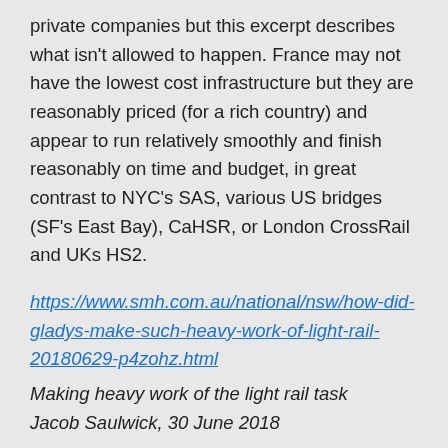private companies but this excerpt describes what isn't allowed to happen. France may not have the lowest cost infrastructure but they are reasonably priced (for a rich country) and appear to run relatively smoothly and finish reasonably on time and budget, in great contrast to NYC's SAS, various US bridges (SF's East Bay), CaHSR, or London CrossRail and UKs HS2.
https://www.smh.com.au/national/nsw/how-did-gladys-make-such-heavy-work-of-light-rail-20180629-p4zohz.html
Making heavy work of the light rail task
Jacob Saulwick, 30 June 2018
One theory about what went wrong relates